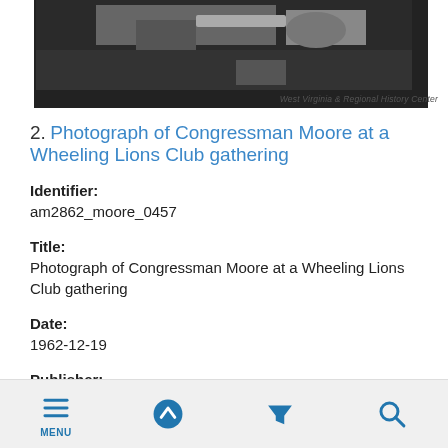[Figure (photo): Black and white photograph of Congressman Moore at a Wheeling Lions Club gathering, partially cropped at top. Image credit: West Virginia & Regional History Center]
West Virginia & Regional History Center
2. Photograph of Congressman Moore at a Wheeling Lions Club gathering
Identifier:
am2862_moore_0457
Title:
Photograph of Congressman Moore at a Wheeling Lions Club gathering
Date:
1962-12-19
Publisher:
West Virginia & Regional History Center
MENU  [up arrow]  [filter]  [search]